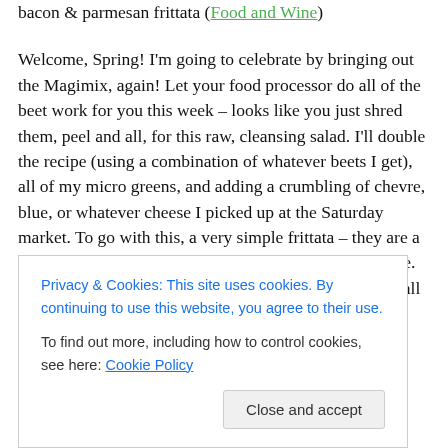bacon & parmesan frittata (Food and Wine)

Welcome, Spring! I'm going to celebrate by bringing out the Magimix, again! Let your food processor do all of the beet work for you this week – looks like you just shred them, peel and all, for this raw, cleansing salad. I'll double the recipe (using a combination of whatever beets I get), all of my micro greens, and adding a crumbling of chevre, blue, or whatever cheese I picked up at the Saturday market. To go with this, a very simple frittata – they are a true weeknight wonder. Healthy, delicious, and versatile. A little oil or butter, eggs, and whatever combination of … quick glance in the end-of-the-veggie-week-fridge. Small
Privacy & Cookies: This site uses cookies. By continuing to use this website, you agree to their use.
To find out more, including how to control cookies, see here: Cookie Policy

Close and accept